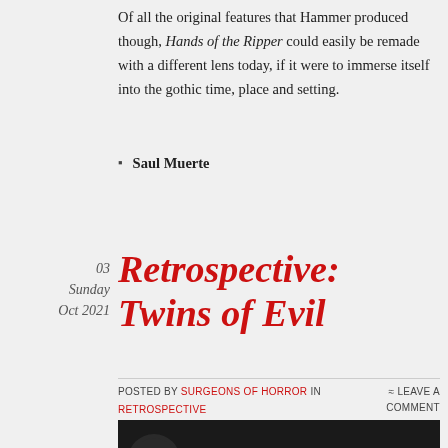Of all the original features that Hammer produced though, Hands of the Ripper could easily be remade with a different lens today, if it were to immerse itself into the gothic time, place and setting.
Saul Muerte
03 Sunday Oct 2021
Retrospective: Twins of Evil
Posted by Surgeons of Horror in Retrospective
≈ Leave a comment
[Figure (screenshot): YouTube video thumbnail showing Hammer logo and title 'Twins of Evil / Original ...' with three-dot menu icon on dark background]